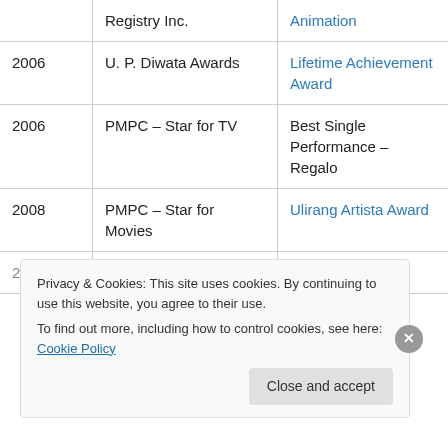| Year | Organization | Award |
| --- | --- | --- |
|  | Registry Inc. | Animation |
| 2006 | U. P. Diwata Awards | Lifetime Achievement Award |
| 2006 | PMPC – Star for TV | Best Single Performance – Regalo |
| 2008 | PMPC – Star for Movies | Ulirang Artista Award |
| 2008 | Fil-Am Visionary… | Legend Award… |
Privacy & Cookies: This site uses cookies. By continuing to use this website, you agree to their use. To find out more, including how to control cookies, see here: Cookie Policy